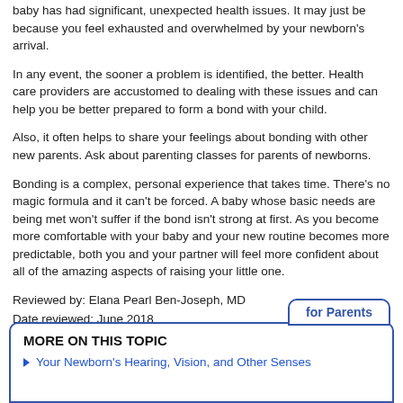baby has had significant, unexpected health issues. It may just be because you feel exhausted and overwhelmed by your newborn's arrival.
In any event, the sooner a problem is identified, the better. Health care providers are accustomed to dealing with these issues and can help you be better prepared to form a bond with your child.
Also, it often helps to share your feelings about bonding with other new parents. Ask about parenting classes for parents of newborns.
Bonding is a complex, personal experience that takes time. There's no magic formula and it can't be forced. A baby whose basic needs are being met won't suffer if the bond isn't strong at first. As you become more comfortable with your baby and your new routine becomes more predictable, both you and your partner will feel more confident about all of the amazing aspects of raising your little one.
Reviewed by: Elana Pearl Ben-Joseph, MD
Date reviewed: June 2018
MORE ON THIS TOPIC
Your Newborn's Hearing, Vision, and Other Senses